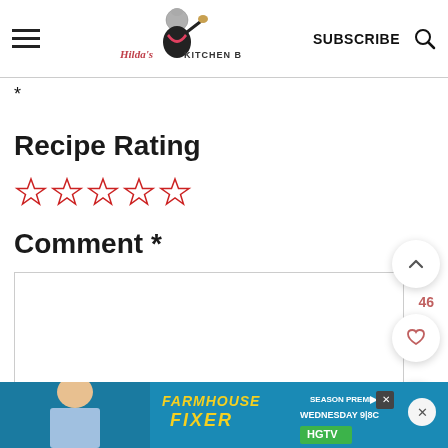Hilda's Kitchen Blog | SUBSCRIBE | [search icon]
*
Recipe Rating
[Figure (other): Five empty star rating icons in red/outline style]
Comment *
[Figure (other): Empty comment text area input box]
[Figure (other): Floating action buttons: up arrow, heart (46), and search]
[Figure (other): Ad banner for Farmhouse Fixer HGTV Season Premiere Wednesday 9|8C]